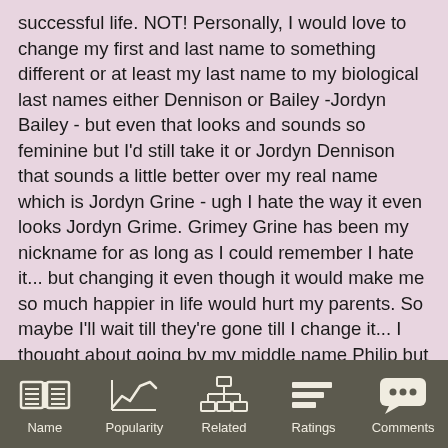successful life. NOT! Personally, I would love to change my first and last name to something different or at least my last name to my biological last names either Dennison or Bailey -Jordyn Bailey - but even that looks and sounds so feminine but I'd still take it or Jordyn Dennison that sounds a little better over my real name which is Jordyn Grine - ugh I hate the way it even looks Jordyn Grime. Grimey Grine has been my nickname for as long as I could remember I hate it... but changing it even though it would make me so much happier in life would hurt my parents. So maybe I'll wait till they're gone till I change it... I thought about going by my middle name Philip but I even hate that name. I've never liked the name Philip personally on myself. I don't look like a Philip or a Jordyn. I think I look like a Jack or Cameron. Jack Dennison or Jack Bailey would be awesome names to have that I think someone with either of those names would be very successful in life. I wish I was never adopted. It's crazy how much names matter. I'm afraid to even have a child what If I make the mistake my parents did and name my
Name | Popularity | Related | Ratings | Comments